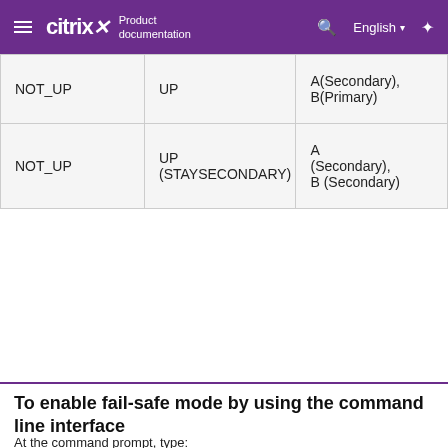Citrix Product documentation | English
| NOT_UP | UP | A(Secondary), B(Primary) |
| NOT_UP | UP (STAYSECONDARY) | A (Secondary), B (Secondary) |
To enable fail-safe mode by using the command line interface
At the command prompt, type:
set HA node [-failSafe ( **ON** | **OFF** )]